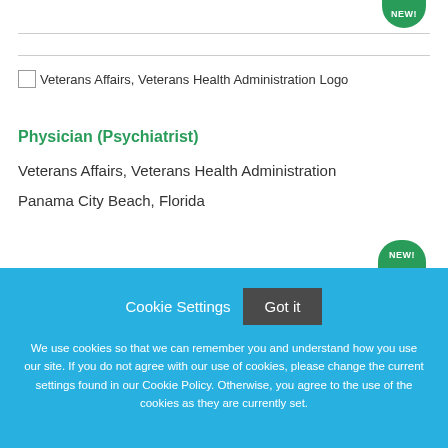[Figure (logo): Veterans Affairs, Veterans Health Administration Logo (broken image placeholder)]
Physician (Psychiatrist)
Veterans Affairs, Veterans Health Administration
Panama City Beach, Florida
Cookie Settings  Got it
We use cookies so that we can remember you and understand how you use our site. If you do not agree with our use of cookies, please change the current settings found in our Cookie Policy. Otherwise, you agree to the use of the cookies as they are currently set.